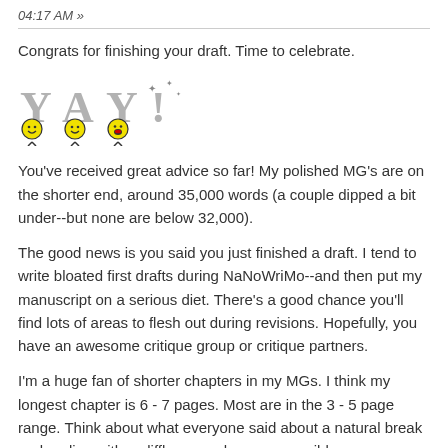04:17 AM »
Congrats for finishing your draft. Time to celebrate.
[Figure (illustration): YAY! text in gray with smiley face characters beneath the letters, yellow smiley faces with stick legs]
You've received great advice so far! My polished MG's are on the shorter end, around 35,000 words (a couple dipped a bit under--but none are below 32,000).
The good news is you said you just finished a draft. I tend to write bloated first drafts during NaNoWriMo--and then put my manuscript on a serious diet. There's a good chance you'll find lots of areas to flesh out during revisions. Hopefully, you have an awesome critique group or critique partners.
I'm a huge fan of shorter chapters in my MGs. I think my longest chapter is 6 - 7 pages. Most are in the 3 - 5 page range. Think about what everyone said about a natural break and ending with a cliffhanger whenever possible.